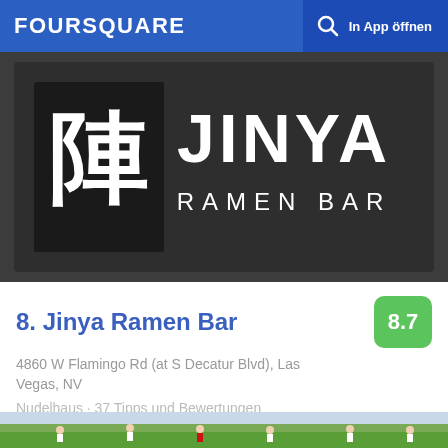FOURSQUARE  In App öffnen
[Figure (photo): Jinya Ramen Bar logo on dark fabric — Japanese kanji character on left, 'JINYA RAMEN BAR' text on right in white]
8. Jinya Ramen Bar
4860 W Flamingo Rd (at S Decatur Blvd), Las Vegas, NV
Nudelhaus · 37 Tipps und Bewertungen
[Figure (photo): Children playing soccer on a green grass field with trees and buildings in background, some wearing white and some wearing dark uniforms, one adult referee in red shirt visible]